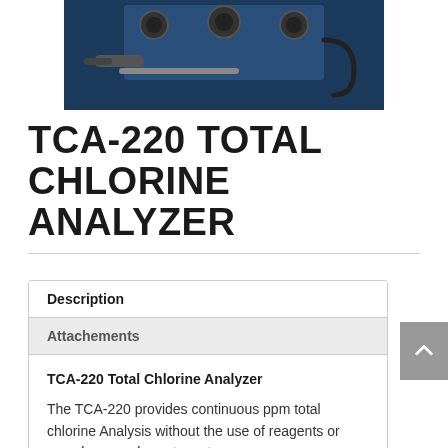[Figure (photo): Partial view of the TCA-220 Total Chlorine Analyzer device mounted on a dark blue panel with tubes and cables visible]
TCA-220 TOTAL CHLORINE ANALYZER
| Description |
| --- |
| Attachements |
| TCA-220 Total Chlorine Analyzer

The TCA-220 provides continuous ppm total chlorine Analysis without the use of reagents or complex sample systems to |
TCA-220 Total Chlorine Analyzer
The TCA-220 provides continuous ppm total chlorine Analysis without the use of reagents or complex sample systems to